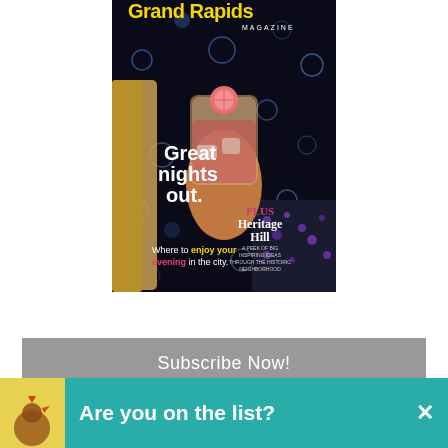[Figure (photo): Grand Rapids Magazine cover showing a person holding a cocktail glass with text 'Great nights out.' and 'Where to enjoy your evening in the city.' with Heritage Hill feature callout]
[Figure (other): Subscribe Now! button in gray]
Are you on the list?